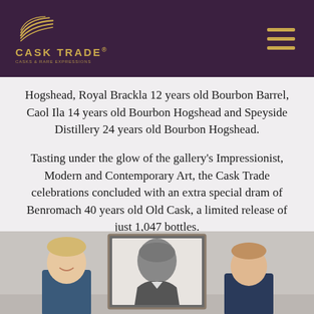CASK TRADE®
Hogshead, Royal Brackla 12 years old Bourbon Barrel, Caol Ila 14 years old Bourbon Hogshead and Speyside Distillery 24 years old Bourbon Hogshead.
Tasting under the glow of the gallery's Impressionist, Modern and Contemporary Art, the Cask Trade celebrations concluded with an extra special dram of Benromach 40 years old Old Cask, a limited release of just 1,047 bottles.
[Figure (photo): Two men standing in front of a large framed black and white portrait photograph in what appears to be an art gallery setting.]